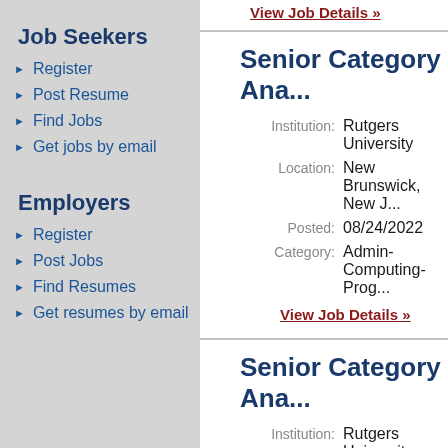View Job Details »
Job Seekers
Register
Post Resume
Find Jobs
Get jobs by email
Employers
Register
Post Jobs
Find Resumes
Get resumes by email
Senior Category Ana...
Institution: Rutgers University
Location: New Brunswick, New J...
Posted: 08/24/2022
Category: Admin-Computing-Prog...
View Job Details »
Senior Category Ana...
Institution: Rutgers University
Location: New Brunswick, New J...
Posted: 08/24/2022
Category: Admin-Computing-Prog...
View Job Details »